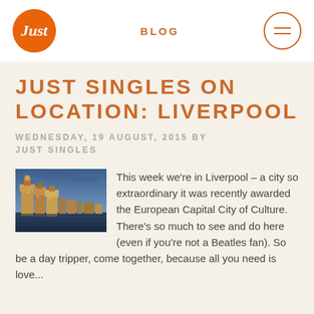[Figure (logo): Just Singles orange circle logo with cursive 'Just' text in white]
BLOG
[Figure (other): Hamburger menu icon inside an orange circle outline]
JUST SINGLES ON LOCATION: LIVERPOOL
WEDNESDAY, 19 AUGUST, 2015 BY JUST SINGLES
[Figure (photo): Liverpool waterfront skyline at dusk with lit buildings reflected on water]
This week we're in Liverpool – a city so extraordinary it was recently awarded the European Capital City of Culture. There's so much to see and do here (even if you're not a Beatles fan). So be a day tripper, come together, because all you need is love...